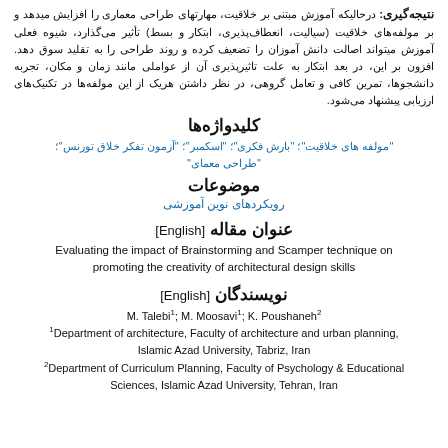نتیجه‌گیری: درحالیکه آموزش مبتنی بر خلاقیت، مهارتهای طراحی معماری را افزایش میدهد و بر مولفه‌های خلاقیت (سیالیت، انعطاف‌پذیری، ابتکار و بسط) تأثیر می‌گذارد، شیوه فعلی آموزش میتواند اصالت دانش آموزان را تضعیف کرده و روند طراحی را به تقلید سوق دهد. افزون بر این، در بعد ابتکار به علت تاثیرپذیری آن از عواملی مانند زمان و مکان، تجربه دانشجوها، تمرین کافی و تعامل گروهی، در نظر داشتن هریک از این مولفه‌ها در تکنیک‌های ارزیابی پیشنهاد می‌شود.
کلیدواژه‌ها
"مولفه های خلاقیت"؛ "بارش فکری"؛ اسکمبر"؛ "آزمون تفکر خلاق تورنس"؛ "طراحی معماری"
موضوعات
رویکردهای نوین آموزشی
عنوان مقاله [English]
Evaluating the impact of Brainstorming and Scamper technique on promoting the creativity of architectural design skills
نویسندگان [English]
M. Talebi1; M. Moosavi1; K. Poushaneh2
1Department of architecture, Faculty of architecture and urban planning, Islamic Azad University, Tabriz, Iran
2Department of Curriculum Planning, Faculty of Psychology & Educational Sciences, Islamic Azad University, Tehran, Iran